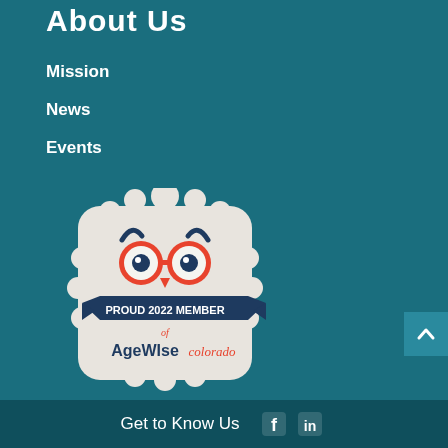About Us
Mission
News
Events
[Figure (logo): AgeWise Colorado Proud 2022 Member badge featuring an owl with red glasses and eyebrows on a light gray scalloped badge background]
Get to Know Us